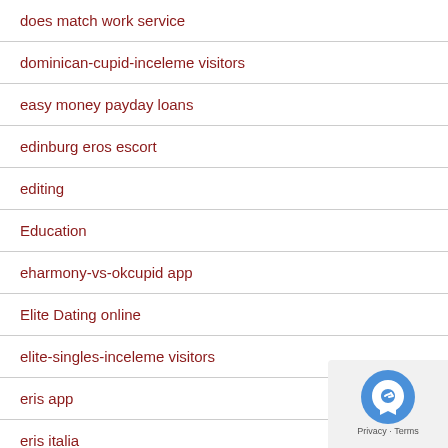does match work service
dominican-cupid-inceleme visitors
easy money payday loans
edinburg eros escort
editing
Education
eharmony-vs-okcupid app
Elite Dating online
elite-singles-inceleme visitors
eris app
eris italia
eroticke-webove-stranky Seznamka
escort escort sites